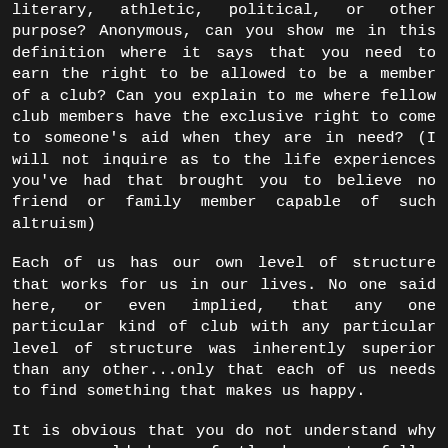literary, athletic, political, or other purpose? Anonymous, can you show me in this definition where it says that you need to earn the right to be allowed to be a member of a club? Can you explain to me where fellow club members have the exclusive right to come to someone's aid when they are in need? (I will not inquire as to the life experiences you've had that brought you to believe no friend or family member capable of such altruism)
Each of us has our own level of structure that works for us in our lives. No one said here, or even implied, that any one particular kind of club with any particular level of structure was inherently superior than any other...only that each of us needs to find something that makes us happy.
It is obvious that you do not understand why anyone would be perfectly happy to follow someone along on a nice ride and then go their merry way. You seem to be lashing out at Steve's club because you don't understand the motivation that he and his friends have behind it, much in the same way that you are accusing everyone else of lashing out at your club and ones like it because you seem to think that they don't understand your motivations.